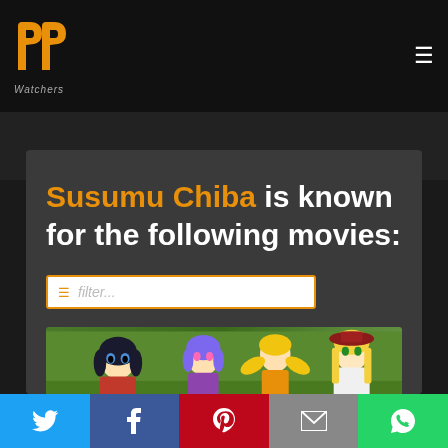[Figure (logo): PP Watchers logo with two yellow/orange P shapes and text 'Watchers' below]
Susumu Chiba is known for the following movies:
filter...
[Figure (illustration): Anime characters group illustration on green background]
Twitter | Facebook | Pinterest | Email | WhatsApp social share buttons